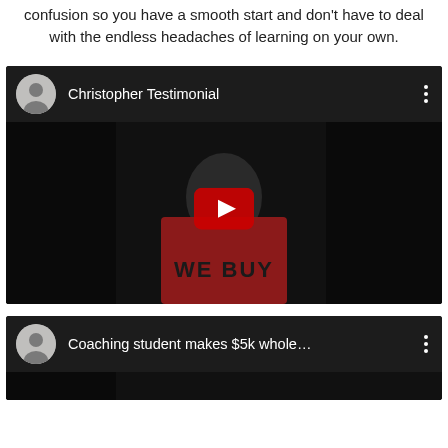confusion so you have a smooth start and don't have to deal with the endless headaches of learning on your own.
[Figure (screenshot): YouTube video embed showing 'Christopher Testimonial' with a person in a red 'WE BUY' shirt with a play button overlay]
[Figure (screenshot): YouTube video embed showing 'Coaching student makes $5k whole...' partially visible at bottom of page]